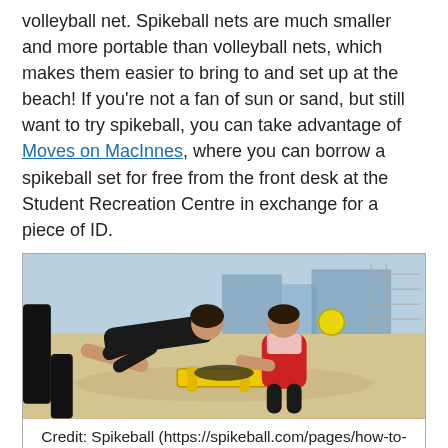volleyball net. Spikeball nets are much smaller and more portable than volleyball nets, which makes them easier to bring to and set up at the beach! If you're not a fan of sun or sand, but still want to try spikeball, you can take advantage of Moves on MacInnes, where you can borrow a spikeball set for free from the front desk at the Student Recreation Centre in exchange for a piece of ID.
[Figure (photo): Two people playing spikeball on a beach. One player is diving horizontally toward a small circular net on the ground, while another player crouches behind. A yellow ball is visible mid-air. The background shows a sunny beach setting with buildings visible.]
Credit: Spikeball (https://spikeball.com/pages/how-to-play-1)
No matter which beach sport you choose to try, remember to stay safe under the sun, by checking out this blog post on sun essentials! Happy moving this summer, UBC!